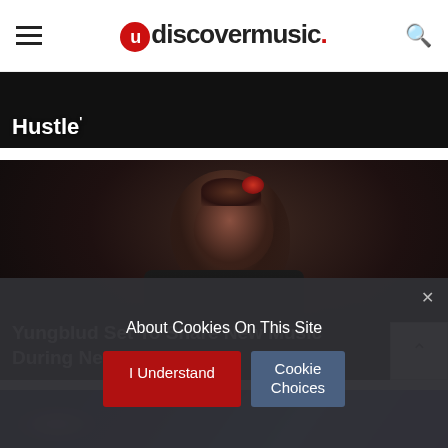uDiscover Music
Hustle
[Figure (photo): Yungblud performing on stage, dark background, wearing black jacket]
Yungblud Set To Share New Music During New Livestream
[Figure (photo): Partial view of blue/purple lit concert or music scene]
About Cookies On This Site
I Understand
Cookie Choices